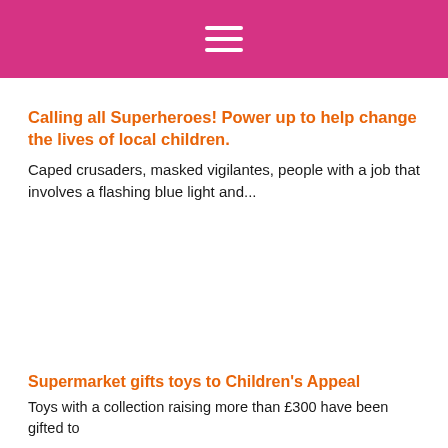Calling all Superheroes! Power up to help change the lives of local children.
Caped crusaders, masked vigilantes, people with a job that involves a flashing blue light and...
Supermarket gifts toys to Children's Appeal
Toys with a collection raising more than £300 have been gifted to...